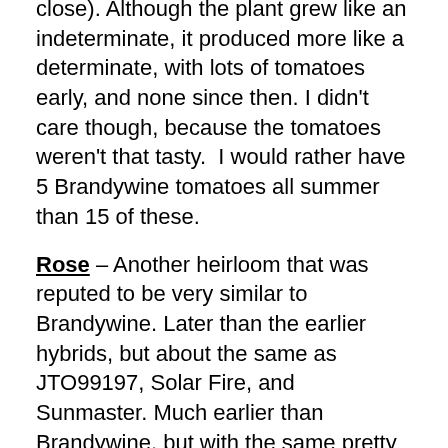close). Although the plant grew like an indeterminate, it produced more like a determinate, with lots of tomatoes early, and none since then. I didn’t care though, because the tomatoes weren’t that tasty.  I would rather have 5 Brandywine tomatoes all summer than 15 of these.
Rose – Another heirloom that was reputed to be very similar to Brandywine. Later than the earlier hybrids, but about the same as JTO99197, Solar Fire, and Sunmaster. Much earlier than Brandywine, but with the same pretty pink color. These were slightly smaller than the Brandywine tomatoes and they didn’t exhibit any catfacing (the twisted, contorted shapes on the blossom end that many heirlooms exhibit), which I was surprised by. The fruit didn’t crack either, which was a pleasant surprise. This was also the clear winner in flavor this year. Yum! Yield was decent for an heirloom – I think 8 tomatoes on a